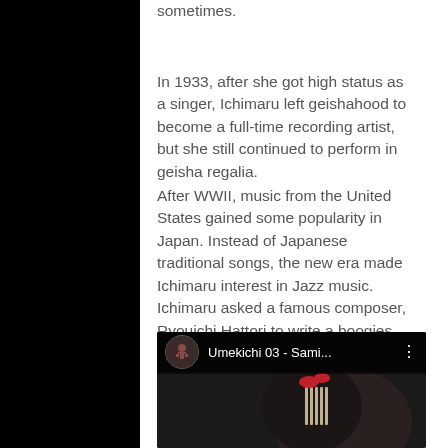sometimes.
In 1933, after she got high status as a singer, Ichimaru left geishahood to become a full-time recording artist, but she still continued to perform in geisha regalia.
After WWII, music from the United States gained some popularity in Japan. Instead of Japanese traditional songs, the new era made Ichimaru interest in Jazz music. Ichimaru asked a famous composer, Ryouichi Hattori to write a boogies song for her, and then the famous Ichimaru’s boogies “Shamisen Boogie Woogie” was born in 1949. Below a modern rendition of the song:
[Figure (screenshot): YouTube video embed showing 'Umekichi 03 - Sami...' with a thumbnail of a geisha's hair ornament and dark background.]